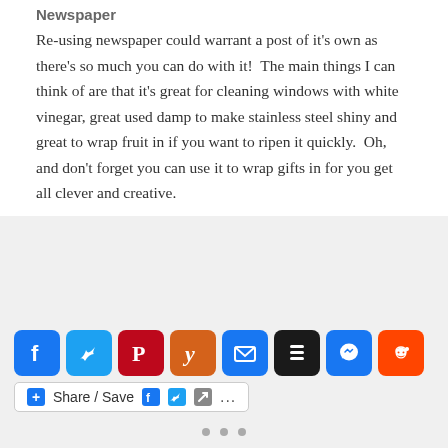Newspaper
Re-using newspaper could warrant a post of it’s own as there’s so much you can do with it!  The main things I can think of are that it’s great for cleaning windows with white vinegar, great used damp to make stainless steel shiny and great to wrap fruit in if you want to ripen it quickly.  Oh, and don’t forget you can use it to wrap gifts in for you get all clever and creative.
[Figure (other): Social share buttons: Facebook, Twitter, Pinterest, Yummly, Email, Buffer, Messenger, Reddit icons, plus a Share/Save bar with Facebook, Twitter, and more icons]